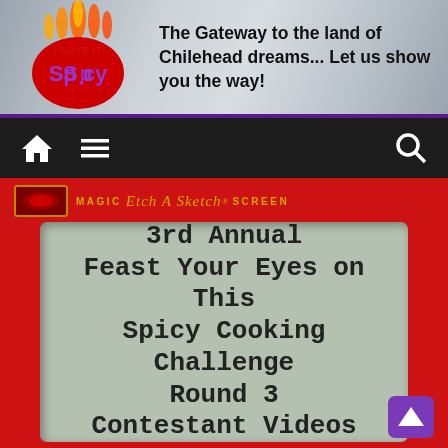[Figure (logo): I Love It Spicy website header with flame logo and tagline]
The Gateway to the land of Chilehead dreams... Let us show you the way!
[Figure (screenshot): Navigation bar with home icon, menu icon, and search icon on dark background]
[Figure (photo): Etch A Sketch toy showing text: 3rd Annual Feast Your Eyes on This Spicy Cooking Challenge Round 3 Contestant Videos]